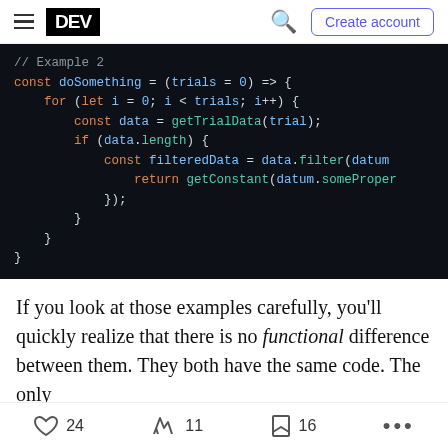DEV | Create account
[Figure (screenshot): Dark-themed code editor screenshot showing JavaScript Example 2: const doSomething = (trials = 0) => { for (let i = 0; i < trials; i++) { const data = getTrialData(trial); if (data.length) { const filteredData = data.filter(datum return getConstant(datum.someProper }); } } }]
If you look at those examples carefully, you'll quickly realize that there is no functional difference between them. They both have the same code. The only
24  11  16  ...